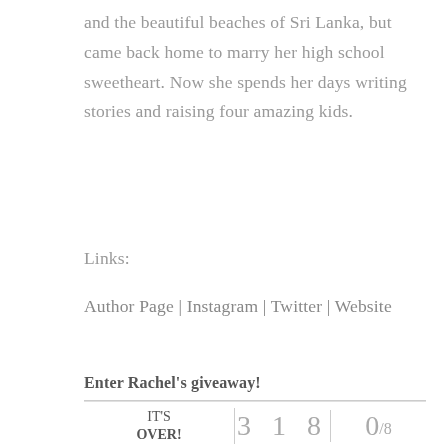and the beautiful beaches of Sri Lanka, but came back home to marry her high school sweetheart. Now she spends her days writing stories and raising four amazing kids.
Links:
Author Page | Instagram | Twitter | Website
Enter Rachel's giveaway!
| Status | Count | Ratio |
| --- | --- | --- |
| IT'S OVER! | 3 1 8 | 0/8 |